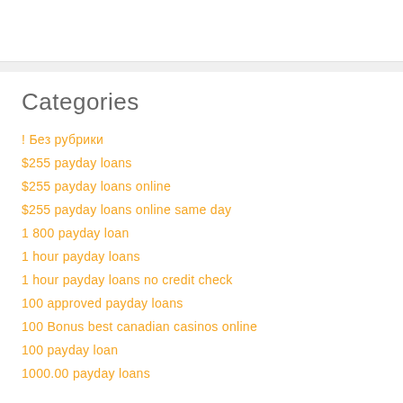Categories
! Без рубрики
$255 payday loans
$255 payday loans online
$255 payday loans online same day
1 800 payday loan
1 hour payday loans
1 hour payday loans no credit check
100 approved payday loans
100 Bonus best canadian casinos online
100 payday loan
1000.00 payday loans